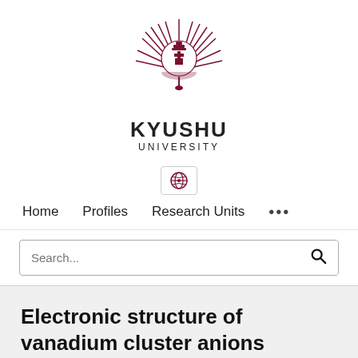[Figure (logo): Kyushu University logo — dark red/maroon emblem with radiating feather/leaf motif and decorative crest on top, above text KYUSHU UNIVERSITY]
KYUSHU
UNIVERSITY
[Figure (other): Globe icon in a bordered box representing language/international selector]
Home   Profiles   Research Units   ...
Search...
Electronic structure of vanadium cluster anions as studied by photoelectron spectroscopy